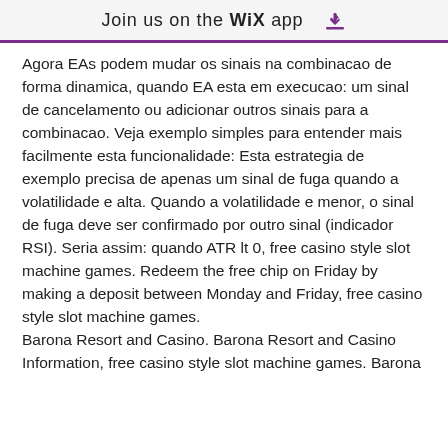Join us on the Wix app ↓
Agora EAs podem mudar os sinais na combinacao de forma dinamica, quando EA esta em execucao: um sinal de cancelamento ou adicionar outros sinais para a combinacao. Veja exemplo simples para entender mais facilmente esta funcionalidade: Esta estrategia de exemplo precisa de apenas um sinal de fuga quando a volatilidade e alta. Quando a volatilidade e menor, o sinal de fuga deve ser confirmado por outro sinal (indicador RSI). Seria assim: quando ATR lt 0, free casino style slot machine games. Redeem the free chip on Friday by making a deposit between Monday and Friday, free casino style slot machine games.
Barona Resort and Casino. Barona Resort and Casino Information, free casino style slot machine games. Barona